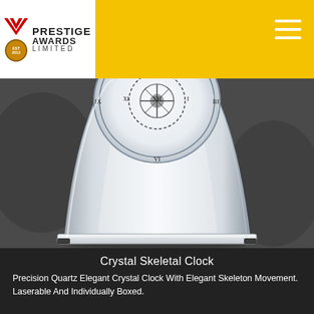[Figure (logo): Prestige Awards Limited logo with red W chevron, gold medal badge, and company name text]
[Figure (photo): Close-up photo of a crystal skeletal clock with transparent crystal body, roman numeral clock face, and skeleton movement visible through the dial]
Crystal Skeletal Clock
Precision Quartz Elegant Crystal Clock With Elegant Skeleton Movement. Laserable And Individually Boxed.